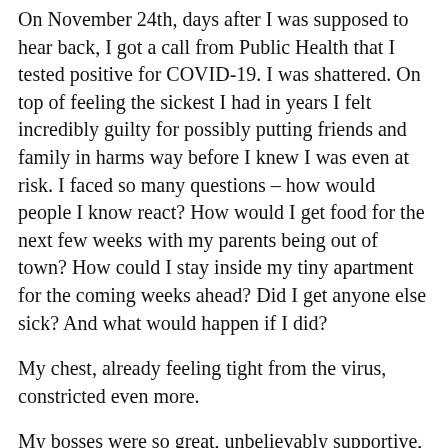On November 24th, days after I was supposed to hear back, I got a call from Public Health that I tested positive for COVID-19. I was shattered. On top of feeling the sickest I had in years I felt incredibly guilty for possibly putting friends and family in harms way before I knew I was even at risk. I faced so many questions – how would people I know react? How would I get food for the next few weeks with my parents being out of town? How could I stay inside my tiny apartment for the coming weeks ahead? Did I get anyone else sick? And what would happen if I did?
My chest, already feeling tight from the virus, constricted even more.
My bosses were so great, unbelievably supportive, kind and helpful. That assuaged some of the guilt I was feeling.
Telling other people was harder. Thankfully, I was only in contact with a few people in the days prior, and I had...